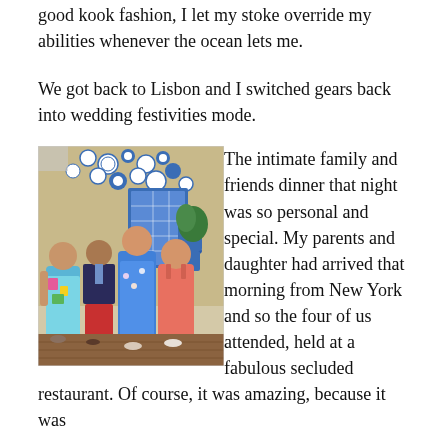good kook fashion, I let my stoke override my abilities whenever the ocean lets me.
We got back to Lisbon and I switched gears back into wedding festivities mode.
[Figure (photo): Four people (two women and two older adults, one man and one woman) posing together in front of a wall decorated with blue and white plates and tiles. The setting appears to be an outdoor restaurant patio with wooden decking.]
The intimate family and friends dinner that night was so personal and special. My parents and daughter had arrived that morning from New York and so the four of us attended, held at a fabulous secluded restaurant. Of course, it was amazing, because it was